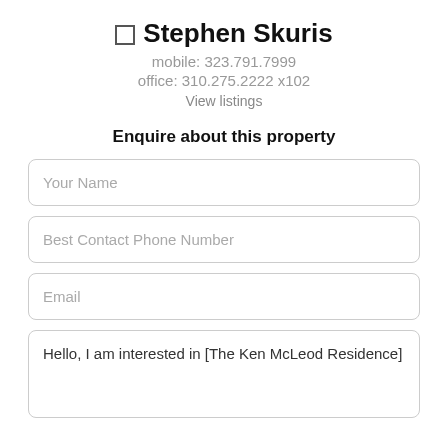Stephen Skuris
mobile: 323.791.7999
office: 310.275.2222 x102
View listings
Enquire about this property
Your Name
Best Contact Phone Number
Email
Hello, I am interested in [The Ken McLeod Residence]